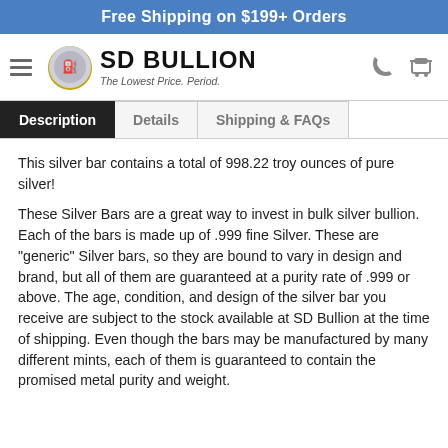Free Shipping on $199+ Orders
[Figure (logo): SD Bullion logo with coin image and tagline 'The Lowest Price. Period.']
Description | Details | Shipping & FAQs
This silver bar contains a total of 998.22 troy ounces of pure silver!
These Silver Bars are a great way to invest in bulk silver bullion. Each of the bars is made up of .999 fine Silver. These are "generic" Silver bars, so they are bound to vary in design and brand, but all of them are guaranteed at a purity rate of .999 or above. The age, condition, and design of the silver bar you receive are subject to the stock available at SD Bullion at the time of shipping. Even though the bars may be manufactured by many different mints, each of them is guaranteed to contain the promised metal purity and weight.